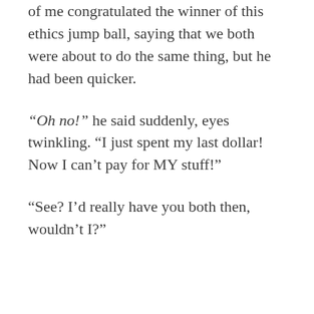of me congratulated the winner of this ethics jump ball, saying that we both were about to do the same thing, but he had been quicker.
“Oh no!” he said suddenly, eyes twinkling. “I just spent my last dollar! Now I can’t pay for MY stuff!”
“See? I’d really have you both then, wouldn’t I?”